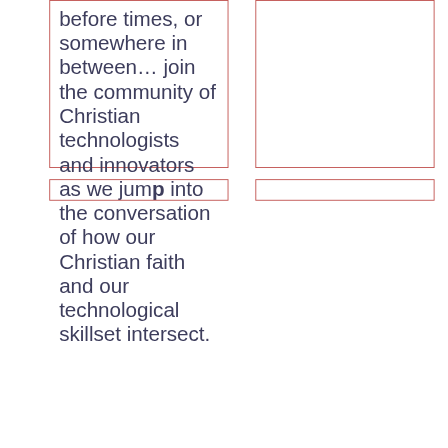before times, or somewhere in between… join the community of Christian technologists and innovators as we jump into the conversation of how our Christian faith and our technological skillset intersect.
[Figure (other): Empty bordered box (top right)]
[Figure (other): Empty bordered box (bottom left, partially visible)]
[Figure (other): Empty bordered box (bottom right, partially visible)]